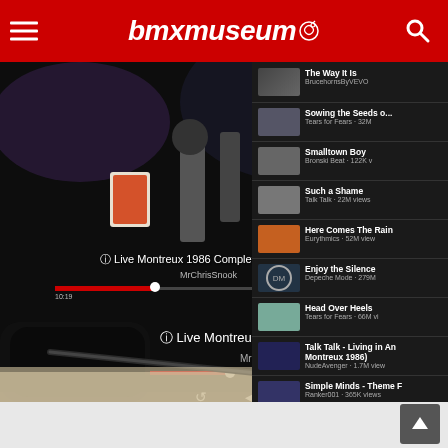bmxmuseum
[Figure (screenshot): A tablet screen showing YouTube playing 'Live Montreux 1986 Complete Concert' by MrChrisSnook, with a playlist visible on the right side showing videos including: Sowing the Seeds - Tears for Fears 32M views, Smalltown Boy - Bronski Beat 122K views, Such a Shame - Talk Talk 22M views, Here Comes The Rain - Eurythmics 52M views, Enjoy the Silence - Depeche Mode 279M views, Head Over Heels - Tears for Fears 66M views, Talk Talk - Living in Another World (Live Montreux 1986) NudeAvenger 1.7M views, Simple Minds - Theme F... Ranker001 365K views. The video playback bar shows 1:26:01 duration.]